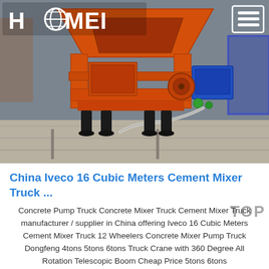[Figure (photo): Orange concrete mixer / cement mixer machine photographed in an industrial warehouse setting. The machine has a large orange hopper/drum at the top, an orange metal frame stand with black legs, and a blue electric motor on the right side with hoses/piping. The HAOMEI logo and hamburger menu icon are overlaid on the photo in the top corners.]
China Iveco 16 Cubic Meters Cement Mixer Truck ...
Concrete Pump Truck Concrete Mixer Truck Cement Mixer Truck manufacturer / supplier in China offering Iveco 16 Cubic Meters Cement Mixer Truck 12 Wheelers Concrete Mixer Pump Truck Dongfeng 4tons 5tons 6tons Truck Crane with 360 Degree All Rotation Telescopic Boom Cheap Price 5tons 6tons